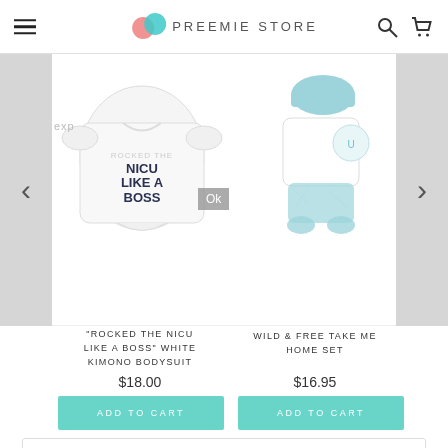Preemie Store
[Figure (photo): White kimono bodysuit with 'Rocked the NICU Like a Boss' text printed on front]
"ROCKED THE NICU LIKE A BOSS" WHITE KIMONO BODYSUIT
$18.00
Add to cart
[Figure (photo): Blue and white take me home outfit set with hat and footed pants for preemie baby]
WILD & FREE TAKE ME HOME SET
$16.95
Add to cart
Customer Reviews